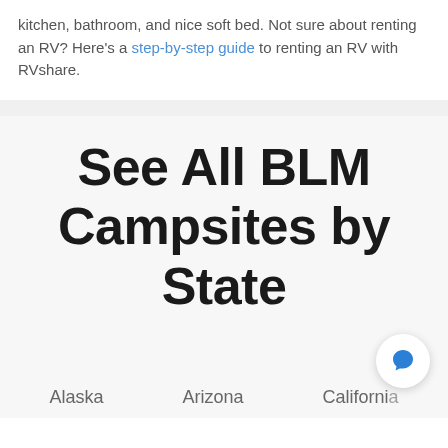kitchen, bathroom, and nice soft bed. Not sure about renting an RV? Here's a step-by-step guide to renting an RV with RVshare.
See All BLM Campsites by State
Alaska   Arizona   California